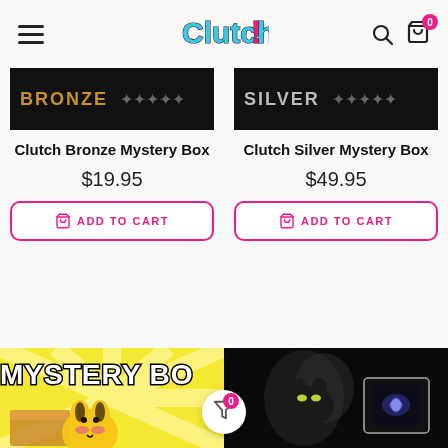Clutch! — navigation header with hamburger menu, logo, search and cart icons
[Figure (screenshot): Bronze mystery box product image — black banner with BRONZE text in gold and rating icons]
Clutch Bronze Mystery Box
$19.95
ADD TO CART
[Figure (screenshot): Silver mystery box product image — black banner with SILVER text in silver and rating icons]
Clutch Silver Mystery Box
$49.95
ADD TO CART
[Figure (photo): Mystery Box promo image with yellow sunburst and Pikachu character, text MYSTERY BOX]
[Figure (photo): Dark moody photo of a cat with glowing eyes and a glowing framed item]